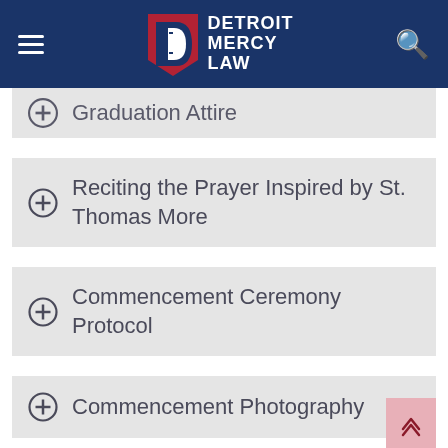Detroit Mercy Law
Graduation Attire
Reciting the Prayer Inspired by St. Thomas More
Commencement Ceremony Protocol
Commencement Photography